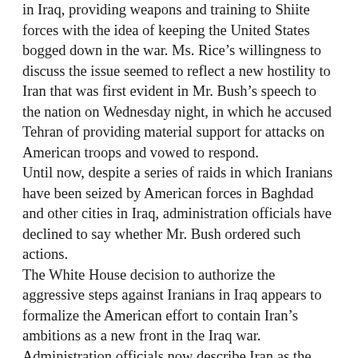in Iraq, providing weapons and training to Shiite forces with the idea of keeping the United States bogged down in the war. Ms. Rice's willingness to discuss the issue seemed to reflect a new hostility to Iran that was first evident in Mr. Bush's speech to the nation on Wednesday night, in which he accused Tehran of providing material support for attacks on American troops and vowed to respond.
Until now, despite a series of raids in which Iranians have been seized by American forces in Baghdad and other cities in Iraq, administration officials have declined to say whether Mr. Bush ordered such actions.
The White House decision to authorize the aggressive steps against Iranians in Iraq appears to formalize the American effort to contain Iran's ambitions as a new front in the Iraq war. Administration officials now describe Iran as the single greatest threat the United States faces in the Middle East, though some administration critics regard the talk about Iran as a diversion, one intended to shift attention away from the spiraling chaos in Iraq.
In adopting a more confrontational approach toward